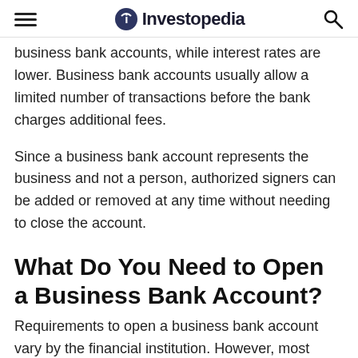Investopedia
business bank accounts, while interest rates are lower. Business bank accounts usually allow a limited number of transactions before the bank charges additional fees.
Since a business bank account represents the business and not a person, authorized signers can be added or removed at any time without needing to close the account.
What Do You Need to Open a Business Bank Account?
Requirements to open a business bank account vary by the financial institution. However, most banks require the following: